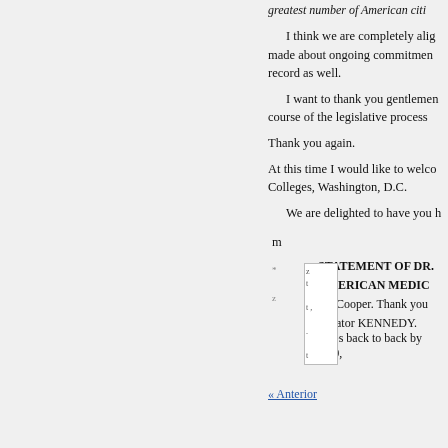greatest number of American citi
I think we are completely alig made about ongoing commitmen record as well.
I want to thank you gentlemen course of the legislative process
Thank you again.
At this time I would like to welco Colleges, Washington, D.C.
We are delighted to have you h
m
STATEMENT OF DR.
AMERICAN MEDIC
Dr. Cooper. Thank you
Senator KENNEDY. votes back to back by 2:30,
« Anterior